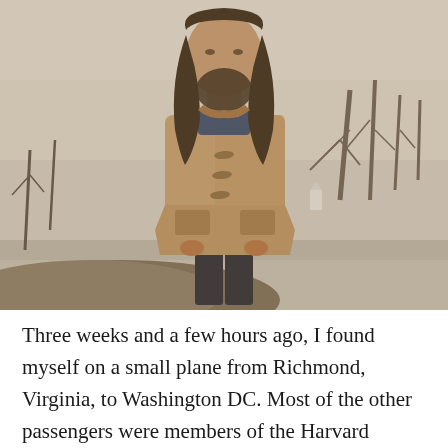[Figure (photo): A person with long hair and a beard wearing a tan/camel duffle coat with toggle buttons, standing outdoors in a winter landscape with bare trees and snow/ice on the ground in the background. The photo has a muted, sepia-toned quality.]
Three weeks and a few hours ago, I found myself on a small plane from Richmond, Virginia, to Washington DC. Most of the other passengers were members of the Harvard baseball team, who had spent the past three hours being harassed by schoolgirls making innumerable Harlem Shake